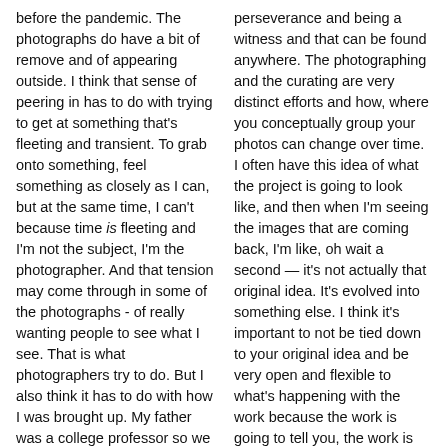before the pandemic. The photographs do have a bit of remove and of appearing outside. I think that sense of peering in has to do with trying to get at something that's fleeting and transient. To grab onto something, feel something as closely as I can, but at the same time, I can't because time is fleeting and I'm not the subject, I'm the photographer. And that tension may come through in some of the photographs - of really wanting people to see what I see. That is what photographers try to do. But I also think it has to do with how I was brought up. My father was a college professor so we moved around a lot to different college towns. I was always having to adapt and become attuned quickly to new people and places. So, in a way, I was always the new kid looking in on new situations. I'm not sure that feeling has changed much for
perseverance and being a witness and that can be found anywhere. The photographing and the curating are very distinct efforts and how, where you conceptually group your photos can change over time. I often have this idea of what the project is going to look like, and then when I'm seeing the images that are coming back, I'm like, oh wait a second — it's not actually that original idea. It's evolved into something else. I think it's important to not be tied down to your original idea and be very open and flexible to what's happening with the work because the work is going to tell you, the work is going to show you the way. When you're sequencing you work, it's amazing what you throw out. You're throwing out pictures you absolutely were convinced were winning pictures when you when you first saw them, but they have no place with where you